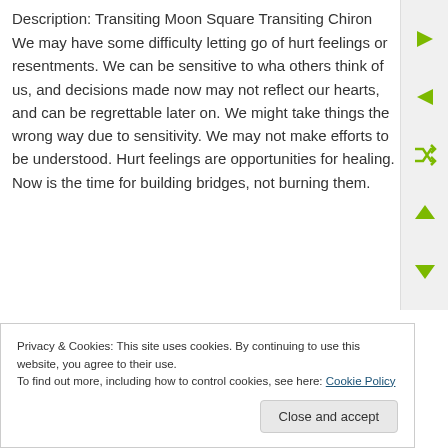Description: Transiting Moon Square Transiting Chiron
We may have some difficulty letting go of hurt feelings or resentments. We can be sensitive to what others think of us, and decisions made now may not reflect our hearts, and can be regrettable later on. We might take things the wrong way due to sensitivity. We may not make efforts to be understood. Hurt feelings are opportunities for healing. Now is the time for building bridges, not burning them.
Privacy & Cookies: This site uses cookies. By continuing to use this website, you agree to their use.
To find out more, including how to control cookies, see here: Cookie Policy